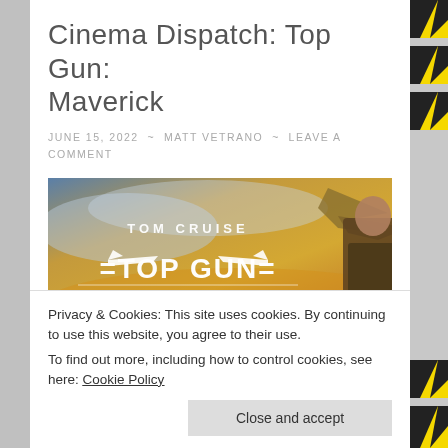Cinema Dispatch: Top Gun: Maverick
JUNE 15, 2022  ~  MATT VETRANO  ~  LEAVE A COMMENT
[Figure (photo): Top Gun: Maverick movie banner featuring Tom Cruise and a fighter jet with golden sky background. Text reads: TOM CRUISE TOP GUN MAVERICK]
Privacy & Cookies: This site uses cookies. By continuing to use this website, you agree to their use.
To find out more, including how to control cookies, see here: Cookie Policy
Close and accept